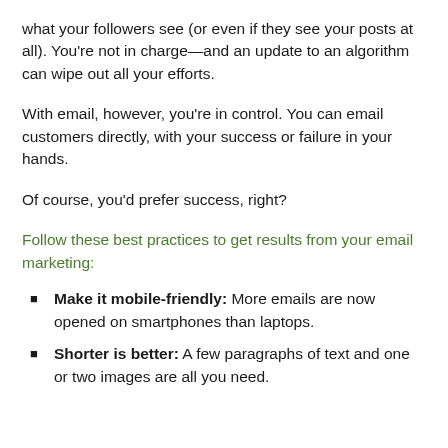what your followers see (or even if they see your posts at all). You're not in charge—and an update to an algorithm can wipe out all your efforts.
With email, however, you're in control. You can email customers directly, with your success or failure in your hands.
Of course, you'd prefer success, right?
Follow these best practices to get results from your email marketing:
Make it mobile-friendly: More emails are now opened on smartphones than laptops.
Shorter is better: A few paragraphs of text and one or two images are all you need.